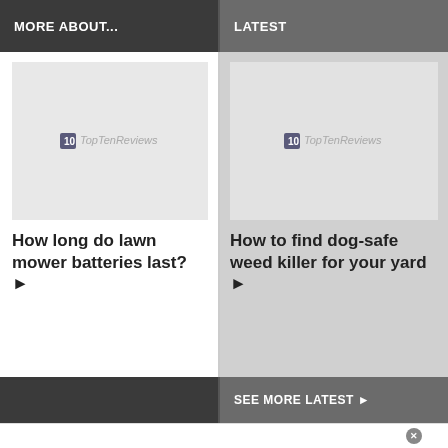MORE ABOUT...
LATEST
[Figure (other): Placeholder image with TopTenReviews logo watermark]
How long do lawn mower batteries last? ▶
[Figure (other): Placeholder image with TopTenReviews logo watermark]
How to find dog-safe weed killer for your yard ▶
SEE MORE LATEST ▶
Official NFL Gear
Get Your Favorite Team's Gear Here
www.nflshop.com